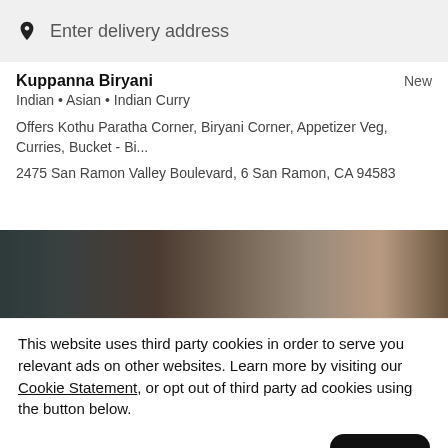Enter delivery address
Kuppanna Biryani
Indian • Asian • Indian Curry
Offers Kothu Paratha Corner, Biryani Corner, Appetizer Veg, Curries, Bucket - Bi...
2475 San Ramon Valley Boulevard, 6 San Ramon, CA 94583
[Figure (photo): Partial view of food/restaurant interior, dark tones]
This website uses third party cookies in order to serve you relevant ads on other websites. Learn more by visiting our Cookie Statement, or opt out of third party ad cookies using the button below.
Opt out
Got it